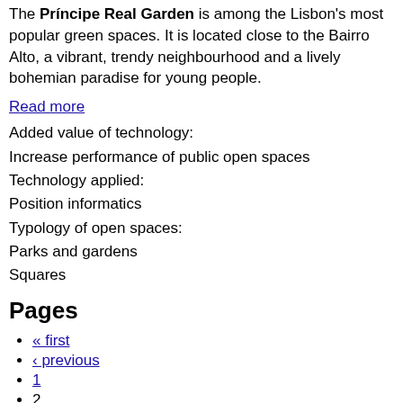The Príncipe Real Garden is among the Lisbon's most popular green spaces. It is located close to the Bairro Alto, a vibrant, trendy neighbourhood and a lively bohemian paradise for young people.
Read more
Added value of technology:
Increase performance of public open spaces
Technology applied:
Position informatics
Typology of open spaces:
Parks and gardens
Squares
Pages
« first
‹ previous
1
2
Public Open Spaces Monitoring Tool
Help researches involve in the transport and urban development by